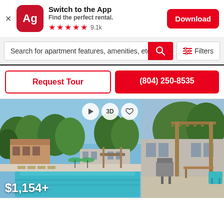[Figure (screenshot): App banner: Apartments.com (Ag) logo icon in red, 'Switch to the App' title, 'Find the perfect rental.' subtitle, 5 red stars with 9.1k rating, and a red Download button]
Search for apartment features, amenities, etc
Filters
Request Tour
(804) 250-8535
[Figure (photo): Apartment complex pool area with lounge chairs, green trees, blue sky, and buildings in the background]
[Figure (photo): Apartment outdoor area with a pergola and outdoor grill]
$1,154+